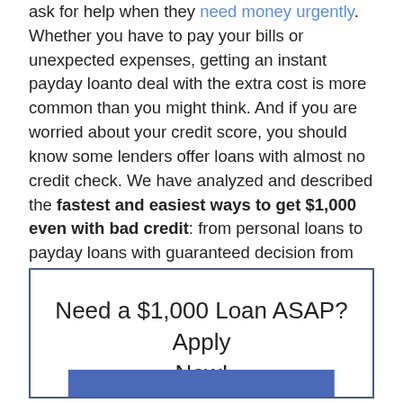ask for help when they need money urgently. Whether you have to pay your bills or unexpected expenses, getting an instant payday loanto deal with the extra cost is more common than you might think. And if you are worried about your credit score, you should know some lenders offer loans with almost no credit check. We have analyzed and described the fastest and easiest ways to get $1,000 even with bad credit: from personal loans to payday loans with guaranteed decision from direct lenders and their alternatives.
Need a $1,000 Loan ASAP? Apply Now!